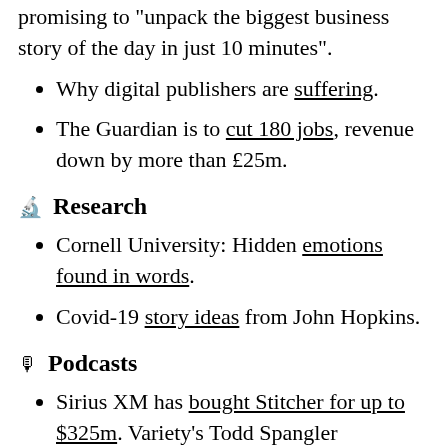promising to "unpack the biggest business story of the day in just 10 minutes".
Why digital publishers are suffering.
The Guardian is to cut 180 jobs, revenue down by more than £25m.
🔬 Research
Cornell University: Hidden emotions found in words.
Covid-19 story ideas from John Hopkins.
🎙 Podcasts
Sirius XM has bought Stitcher for up to $325m. Variety's Todd Spangler...